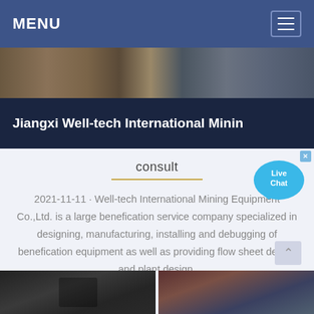MENU
[Figure (photo): Industrial/mining site aerial photo strip]
Jiangxi Well-tech International Minin
consult
2021-11-11 · Well-tech International Mining Equipment Co.,Ltd. is a large benefication service company specialized in designing, manufacturing, installing and debugging of benefication equipment as well as providing flow sheet design and plant design.
[Figure (other): Live Chat bubble widget]
[Figure (photo): Bottom photo strip showing mining equipment]